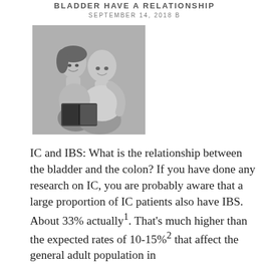BLADDER HAVE A RELATIONSHIP
SEPTEMBER 14, 2018 B
[Figure (photo): Black and white vintage photograph of a man and woman smiling together, the woman leaning on the man's shoulder, both looking at an open book.]
IC and IBS: What is the relationship between the bladder and the colon? If you have done any research on IC, you are probably aware that a large proportion of IC patients also have IBS. About 33% actually1. That's much higher than the expected rates of 10-15%2 that affect the general adult population in